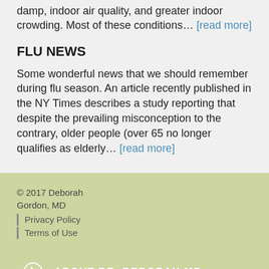damp, indoor air quality, and greater indoor crowding. Most of these conditions… [read more]
FLU NEWS
Some wonderful news that we should remember during flu season. An article recently published in the NY Times describes a study reporting that despite the prevailing misconception to the contrary, older people (over 65 no longer qualifies as elderly… [read more]
© 2017 Deborah Gordon, MD | Privacy Policy | Terms of Use | ABOUT DR. DEBORAH MD | CONTACT US